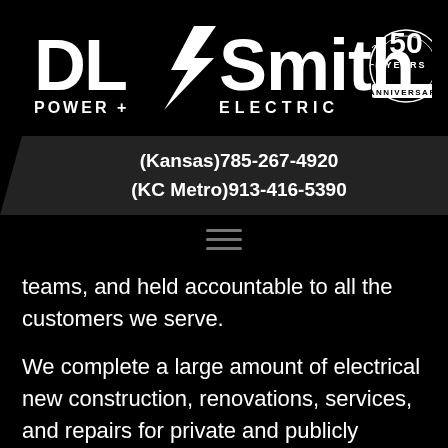[Figure (logo): DL Smith Power + Electric logo with lightning bolt, and 50 Years Anniversary badge on black background]
(Kansas)785-267-4920
(KC Metro)913-416-5390
[Figure (other): Hamburger menu icon (three horizontal lines)]
teams, and held accountable to all the customers we serve.
We complete a large amount of electrical new construction, renovations, services, and repairs for private and publicly traded businesses